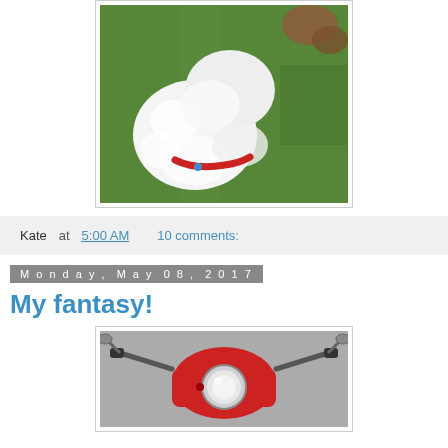[Figure (photo): White fluffy dog on grass, wearing a red collar, viewed from above]
Kate at 5:00 AM    10 comments:
Monday, May 08, 2017
My fantasy!
[Figure (photo): Red scooter/moped front view with headlight and handlebars, on pavement]